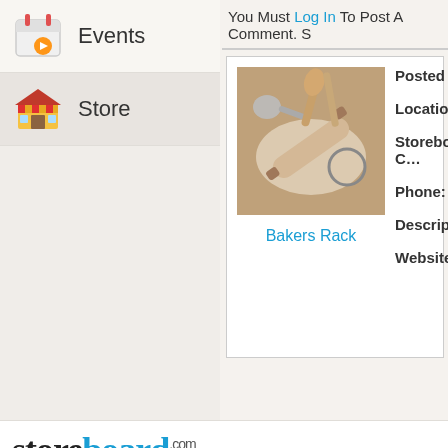Events
Store
You Must Log In To Post A Comment. S…
[Figure (photo): Baking tools including rolling pin, cookie cutter, cookie scoop, and wooden spoon on a wooden surface with flour]
Bakers Rack
Posted By:
Location:
Storeboard C…
Phone:
Description:
Website:
[Figure (logo): storeboard.com logo in black and blue serif/sans font]
About | Press | Premium | Step Inside The Store | Guiding Principles | Inve…